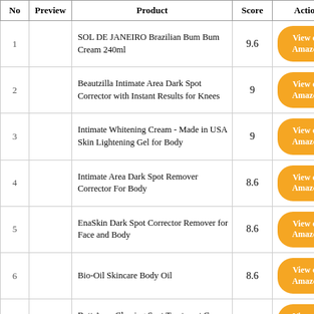| No | Preview | Product | Score | Action |
| --- | --- | --- | --- | --- |
| 1 |  | SOL DE JANEIRO Brazilian Bum Bum Cream 240ml | 9.6 | View on Amazon |
| 2 |  | Beautzilla Intimate Area Dark Spot Corrector with Instant Results for Knees | 9 | View on Amazon |
| 3 |  | Intimate Whitening Cream - Made in USA Skin Lightening Gel for Body | 9 | View on Amazon |
| 4 |  | Intimate Area Dark Spot Remover Corrector For Body | 8.6 | View on Amazon |
| 5 |  | EnaSkin Dark Spot Corrector Remover for Face and Body | 8.6 | View on Amazon |
| 6 |  | Bio-Oil Skincare Body Oil | 8.6 | View on Amazon |
| 7 |  | Butt Acne Clearing Spot Treatment Cream. Clears Acne | 8.4 | View on Amazon |